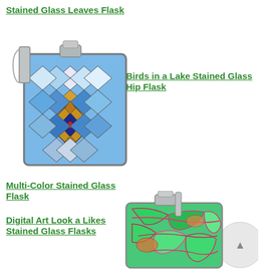Stained Glass Leaves Flask
Birds in a Lake Stained Glass Hip Flask
[Figure (photo): A hip flask with a stained glass mosaic pattern featuring blue, gold, and dark blue geometric diamond shapes with a small red center square, with a metal cap and clip.]
Multi-Color Stained Glass Flask
Digital Art Look a Likes Stained Glass Flasks
[Figure (photo): A hip flask with a colorful digital art stained glass pattern featuring green, pink, red and orange swirling leaf-like shapes, with a metal cap and clip, partially overlapping a white circle element.]